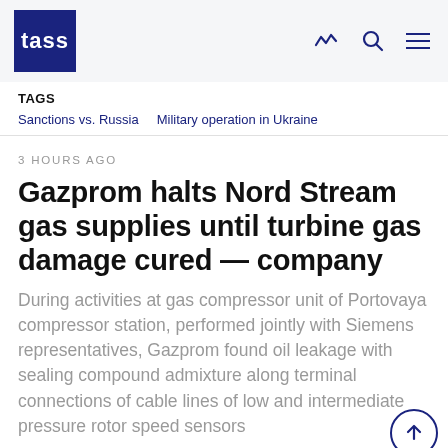TASS
TAGS
Sanctions vs. Russia   Military operation in Ukraine
3 HOURS AGO
Gazprom halts Nord Stream gas supplies until turbine gas damage cured — company
During activities at gas compressor unit of Portovaya compressor station, performed jointly with Siemens representatives, Gazprom found oil leakage with sealing compound admixture along terminal connections of cable lines of low and intermediate pressure rotor speed sensors